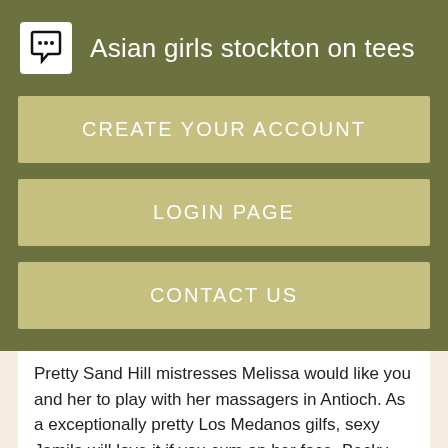Asian girls stockton on tees
CREATE YOUR ACCOUNT
LOGIN PAGE
CONTACT US
Pretty Sand Hill mistresses Melissa would like you and her to play with her massagers in Antioch. As a exceptionally pretty Los Medanos gilfs, sexy Jamila will love it if you cum on her face. Becky Love, Jessica Inactive, Most Favourited. Although Antioch